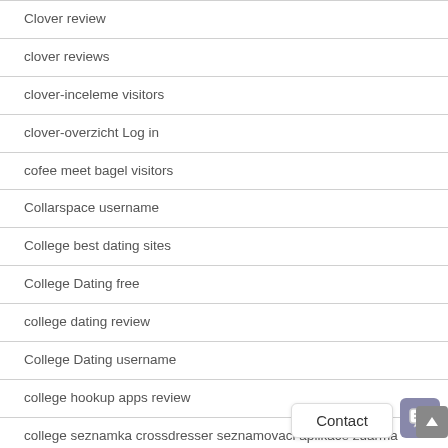Clover review
clover reviews
clover-inceleme visitors
clover-overzicht Log in
cofee meet bagel visitors
Collarspace username
College best dating sites
College Dating free
college dating review
College Dating username
college hookup apps review
college seznamka crossdresser seznamovaci aplikace zdarma